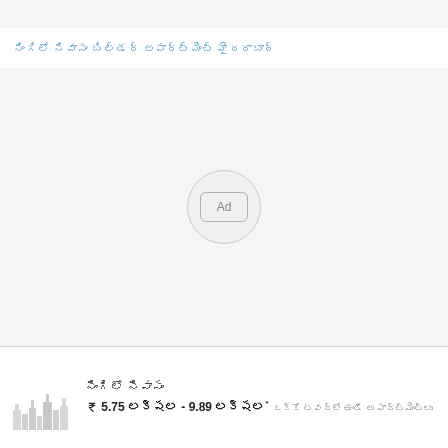నింగిలో నివాసం బిల్డర్ అపార్ట్మెంట్ హైదరాబాద్
[Figure (other): Advertisement placeholder with 'Ad' label in a rounded rectangle inside a circle, on light grey background]
[Figure (illustration): City skyline silhouette icon in light grey tones]
నింగిలో నివాసం
₹ 5.75 లక్షల - 9.89 లక్షల* ఒక్కో టవర్లో ఉండే అపార్ట్మెంట్లు